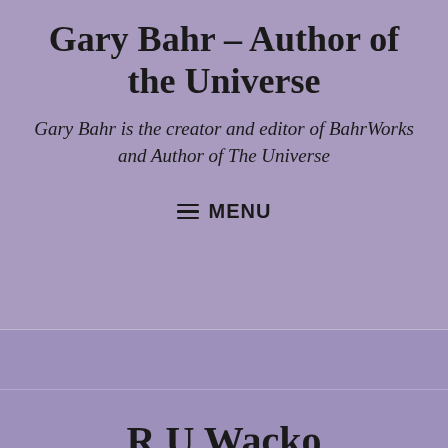Gary Bahr – Author of the Universe
Gary Bahr is the creator and editor of BahrWorks and Author of The Universe
≡ MENU
R U Wacko
Follow ...